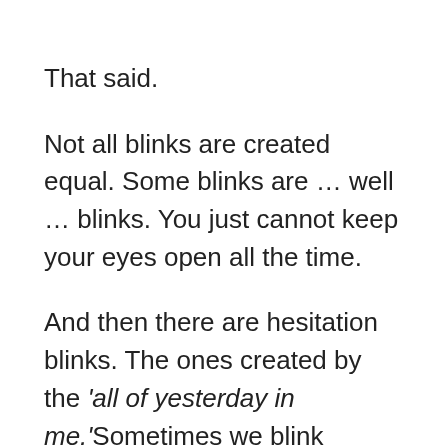That said.
Not all blinks are created equal. Some blinks are … well … blinks. You just cannot keep your eyes open all the time.
And then there are hesitation blinks. The ones created by the 'all of yesterday in me.'Sometimes we blink because the present is a pretty cluttered moment for everyone. Maximizing your present, the "now", is hard. Fucking hard. Anyone who